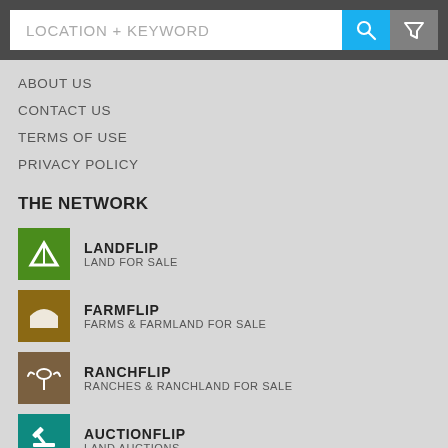[Figure (screenshot): Search bar with text input field 'LOCATION + KEYWORD', blue search button with magnifier icon, grey filter button with funnel icon]
ABOUT US
CONTACT US
TERMS OF USE
PRIVACY POLICY
THE NETWORK
LANDFLIP — LAND FOR SALE
FARMFLIP — FARMS & FARMLAND FOR SALE
RANCHFLIP — RANCHES & RANCHLAND FOR SALE
AUCTIONFLIP — LAND AUCTIONS
COMMERCIALFLIP